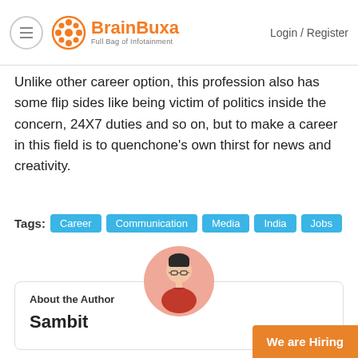BrainBuxa — Full Bag of Infotainment | Login / Register
Unlike other career option, this profession also has some flip sides like being victim of politics inside the concern, 24X7 duties and so on, but to make a career in this field is to quenchone's own thirst for news and creativity.
Tags: Career Communication Media India Jobs
[Figure (illustration): Author avatar: illustrated person with glasses and red shirt in a pink circle]
About the Author
Sambit
We are Hiring